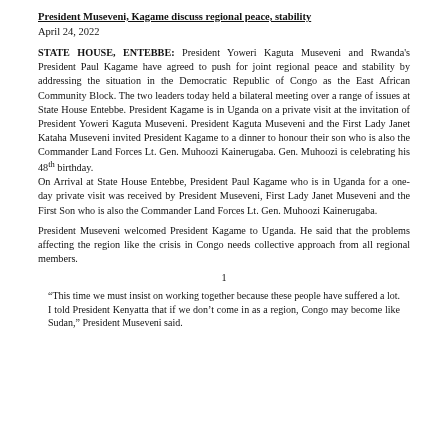President Museveni, Kagame discuss regional peace, stability
April 24, 2022
STATE HOUSE, ENTEBBE: President Yoweri Kaguta Museveni and Rwanda's President Paul Kagame have agreed to push for joint regional peace and stability by addressing the situation in the Democratic Republic of Congo as the East African Community Block. The two leaders today held a bilateral meeting over a range of issues at State House Entebbe. President Kagame is in Uganda on a private visit at the invitation of President Yoweri Kaguta Museveni. President Kaguta Museveni and the First Lady Janet Kataha Museveni invited President Kagame to a dinner to honour their son who is also the Commander Land Forces Lt. Gen. Muhoozi Kainerugaba. Gen. Muhoozi is celebrating his 48th birthday.
On Arrival at State House Entebbe, President Paul Kagame who is in Uganda for a one-day private visit was received by President Museveni, First Lady Janet Museveni and the First Son who is also the Commander Land Forces Lt. Gen. Muhoozi Kainerugaba.
President Museveni welcomed President Kagame to Uganda. He said that the problems affecting the region like the crisis in Congo needs collective approach from all regional members.
1
“This time we must insist on working together because these people have suffered a lot. I told President Kenyatta that if we don't come in as a region, Congo may become like Sudan,” President Museveni said.